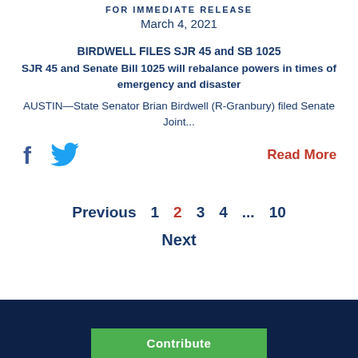FOR IMMEDIATE RELEASE
March 4, 2021
BIRDWELL FILES SJR 45 and SB 1025
SJR 45 and Senate Bill 1025 will rebalance powers in times of emergency and disaster
AUSTIN—State Senator Brian Birdwell (R-Granbury) filed Senate Joint...
Read More
Previous 1 2 3 4 ... 10
Next
Contribute